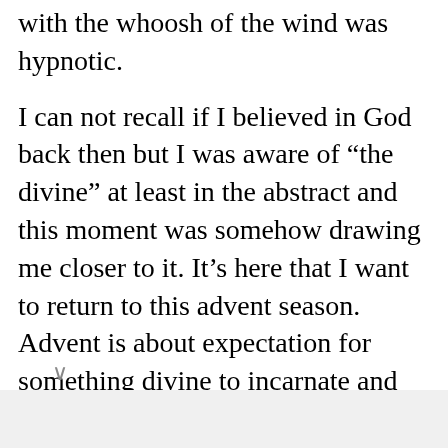with the whoosh of the wind was hypnotic.
I can not recall if I believed in God back then but I was aware of “the divine” at least in the abstract and this moment was somehow drawing me closer to it. It’s here that I want to return to this advent season. Advent is about expectation for something divine to incarnate and even a loud-mouthed kid like myself can have what I like to call an advent encounter. In this case, I had enough exposure to contemplation to allow myself to be immersed, to have contact with Something